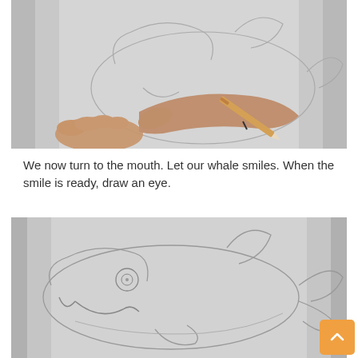[Figure (photo): A hand holding a pencil drawing sketch outlines of a cartoon whale on white paper.]
We now turn to the mouth. Let our whale smiles. When the smile is ready, draw an eye.
[Figure (photo): A pencil sketch on white paper showing a cartoon whale outline with a smiling mouth and a circular eye being drawn.]